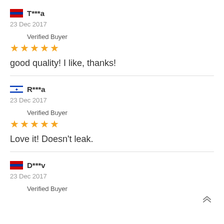T***a
23 Dec 2017
Verified Buyer
★★★★★
good quality! I like, thanks!
R***a
23 Dec 2017
Verified Buyer
★★★★★
Love it! Doesn't leak.
D***v
23 Dec 2017
Verified Buyer